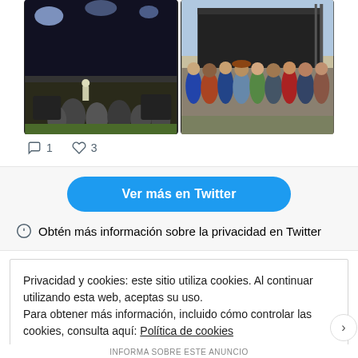[Figure (photo): Two concert photos side by side showing an outdoor festival stage with performers and audience members]
1   3
Ver más en Twitter
Obtén más información sobre la privacidad en Twitter
Privacidad y cookies: este sitio utiliza cookies. Al continuar utilizando esta web, aceptas su uso.
Para obtener más información, incluido cómo controlar las cookies, consulta aquí: Política de cookies
Cerrar y aceptar